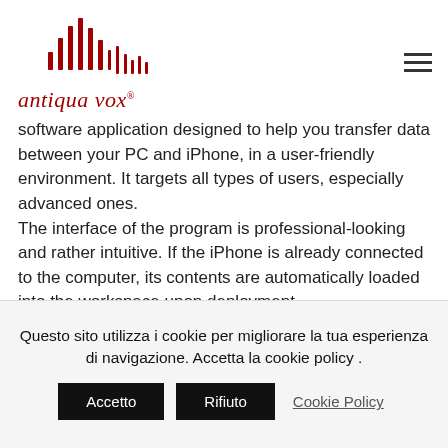[Figure (logo): Antiqua Vox logo with red sound wave bars graphic above italic red text 'antiqua vox ®']
software application designed to help you transfer data between your PC and iPhone, in a user-friendly environment. It targets all types of users, especially advanced ones.
The interface of the program is professional-looking and rather intuitive. If the iPhone is already connected to the computer, its contents are automatically loaded into the workspace upon deployment.
So, you can copy music, movies, playlists, voice
Questo sito utilizza i cookie per migliorare la tua esperienza di navigazione. Accetta la cookie policy .
Accetto   Rifiuto   Cookie Policy